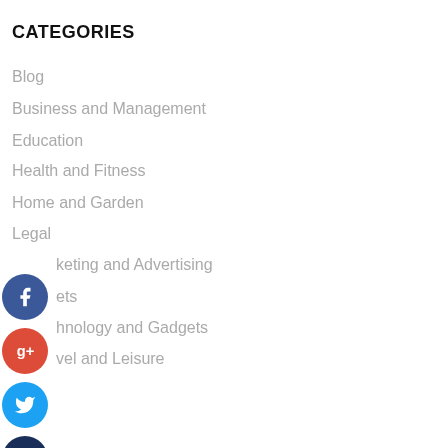CATEGORIES
Blog
Business and Management
Education
Health and Fitness
Home and Garden
Legal
Marketing and Advertising
Pets
Technology and Gadgets
Travel and Leisure
AUTHOR BIO
[Figure (photo): Author bio photo (partial, cropped at bottom of page)]